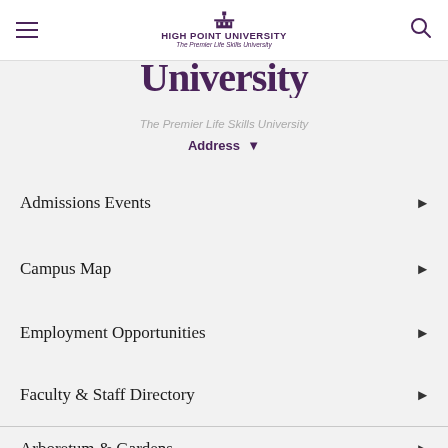High Point University — The Premier Life Skills University
High Point University
The Premier Life Skills University
Address ▾
Admissions Events
Campus Map
Employment Opportunities
Faculty & Staff Directory
Arboretum & Gardens
Visitor Information